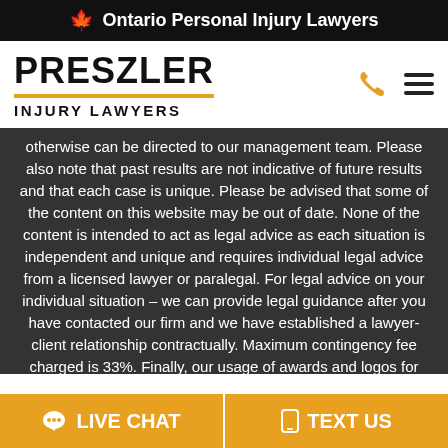🍁 Ontario Personal Injury Lawyers
[Figure (logo): Preszler Injury Lawyers logo with phone and menu icons]
otherwise can be directed to our management team. Please also note that past results are not indicative of future results and that each case is unique. Please be advised that some of the content on this website may be out of date. None of the content is intended to act as legal advice as each situation is independent and unique and requires individual legal advice from a licensed lawyer or paralegal. For legal advice on your individual situation – we can provide legal guidance after you have contacted our firm and we have established a lawyer-client relationship contractually. Maximum contingency fee charged is 33%. Finally, our usage of awards and logos for
LIVE CHAT   TEXT US